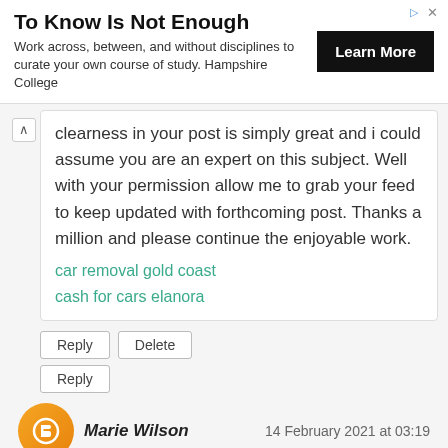[Figure (advertisement): Ad banner: 'To Know Is Not Enough' with subtitle 'Work across, between, and without disciplines to curate your own course of study. Hampshire College' and a black 'Learn More' button]
clearness in your post is simply great and i could assume you are an expert on this subject. Well with your permission allow me to grab your feed to keep updated with forthcoming post. Thanks a million and please continue the enjoyable work.
car removal gold coast
cash for cars elanora
Reply | Delete
Reply
[Figure (illustration): Blogger user avatar - orange circle with white blogger 'B' icon]
Marie Wilson
14 February 2021 at 03:19